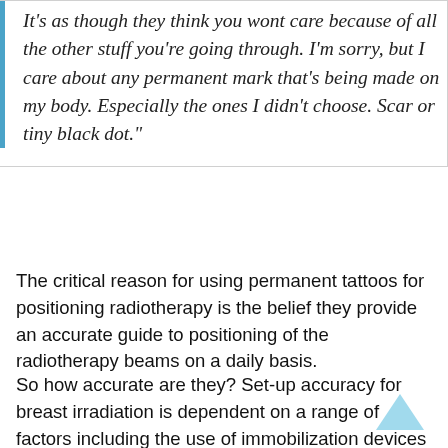It's as though they think you wont care because of all the other stuff you're going through. I'm sorry, but I care about any permanent mark that's being made on my body. Especially the ones I didn't choose. Scar or tiny black dot."
The critical reason for using permanent tattoos for positioning radiotherapy is the belief they provide an accurate guide to positioning of the radiotherapy beams on a daily basis.
So how accurate are they? Set-up accuracy for breast irradiation is dependent on a range of factors including the use of immobilization devices such as breast tilt boards, how the patient's arms are positioned (one arm up...